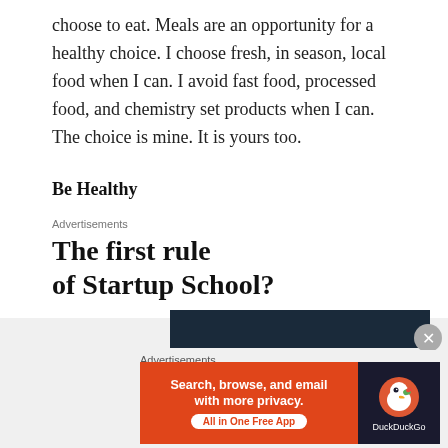choose to eat. Meals are an opportunity for a healthy choice. I choose fresh, in season, local food when I can. I avoid fast food, processed food, and chemistry set products when I can. The choice is mine. It is yours too.
Be Healthy
Advertisements
The first rule of Startup School?
[Figure (other): Dark navy advertisement banner (partially visible)]
Advertisements
[Figure (other): DuckDuckGo advertisement banner: orange section with text 'Search, browse, and email with more privacy. All in One Free App' and dark section with DuckDuckGo logo]